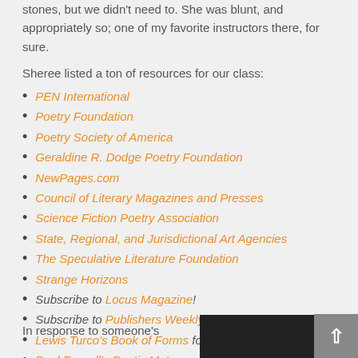stones, but we didn't need to. She was blunt, and appropriately so; one of my favorite instructors there, for sure.
Sheree listed a ton of resources for our class:
PEN International
Poetry Foundation
Poetry Society of America
Geraldine R. Dodge Poetry Foundation
NewPages.com
Council of Literary Magazines and Presses
Science Fiction Poetry Association
State, Regional, and Jurisdictional Art Agencies
The Speculative Literature Foundation
Strange Horizons
Subscribe to Locus Magazine!
Subscribe to Publishers Weekly!
Lewis Turco's Book of Forms for poetry
Paul Fussell's Poetic Meter and Poetic Form
In response to someone's
[Figure (photo): Dark photographic image at bottom right of page]